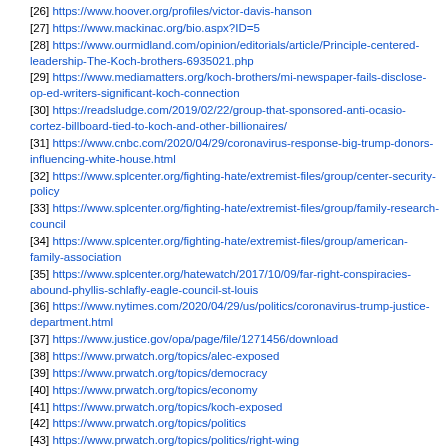[26] https://www.hoover.org/profiles/victor-davis-hanson
[27] https://www.mackinac.org/bio.aspx?ID=5
[28] https://www.ourmidland.com/opinion/editorials/article/Principle-centered-leadership-The-Koch-brothers-6935021.php
[29] https://www.mediamatters.org/koch-brothers/mi-newspaper-fails-disclose-op-ed-writers-significant-koch-connection
[30] https://readsludge.com/2019/02/22/group-that-sponsored-anti-ocasio-cortez-billboard-tied-to-koch-and-other-billionaires/
[31] https://www.cnbc.com/2020/04/29/coronavirus-response-big-trump-donors-influencing-white-house.html
[32] https://www.splcenter.org/fighting-hate/extremist-files/group/center-security-policy
[33] https://www.splcenter.org/fighting-hate/extremist-files/group/family-research-council
[34] https://www.splcenter.org/fighting-hate/extremist-files/group/american-family-association
[35] https://www.splcenter.org/hatewatch/2017/10/09/far-right-conspiracies-abound-phyllis-schlafly-eagle-council-st-louis
[36] https://www.nytimes.com/2020/04/29/us/politics/coronavirus-trump-justice-department.html
[37] https://www.justice.gov/opa/page/file/1271456/download
[38] https://www.prwatch.org/topics/alec-exposed
[39] https://www.prwatch.org/topics/democracy
[40] https://www.prwatch.org/topics/economy
[41] https://www.prwatch.org/topics/koch-exposed
[42] https://www.prwatch.org/topics/politics
[43] https://www.prwatch.org/topics/politics/right-wing
[44] https://www.prwatch.org/news-types/news
[45] http://www.prwatch.org/news/35506